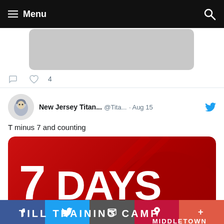Menu
[Figure (screenshot): Partial previous tweet with a gray image thumbnail]
New Jersey Titan... @Tita... · Aug 15
T minus 7 and counting
[Figure (infographic): Red card image reading '7 DAYS TILL TRAINING CAMP' with Middletown Sports Complex logo]
Facebook | Twitter | Email | Pinterest | More social sharing buttons